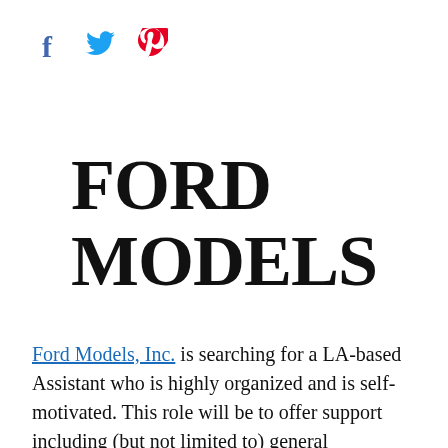[Figure (logo): Social media icons: Facebook (f), Twitter (bird), Pinterest (p)]
[Figure (logo): Ford Models logo in large bold serif uppercase text reading FORD MODELS]
Ford Models, Inc. is searching for a LA-based Assistant who is highly organized and is self-motivated. This role will be to offer support including (but not limited to) general administration duties, booking